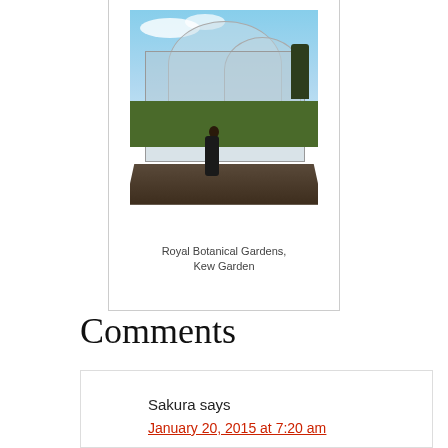[Figure (photo): Photograph of a person standing in front of a large Victorian greenhouse (Palm House) at the Royal Botanical Gardens, Kew Garden. Blue sky with clouds visible above the glass and iron structure. Green lawns and a path in the foreground.]
Royal Botanical Gardens, Kew Garden
Comments
Sakura says
January 20, 2015 at 7:20 am